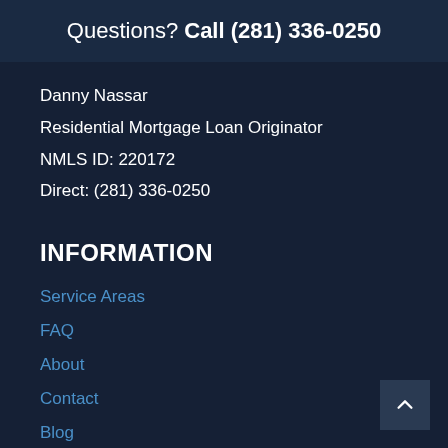Questions? Call (281) 336-0250
Danny Nassar
Residential Mortgage Loan Originator
NMLS ID: 220172
Direct: (281) 336-0250
INFORMATION
Service Areas
FAQ
About
Contact
Blog